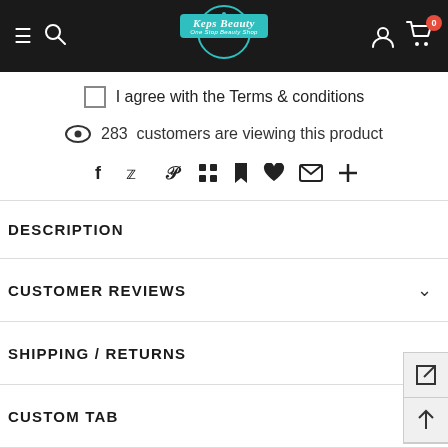[Figure (screenshot): Website navigation bar with hamburger menu, search icon, Keps Beauty logo (teal banner with circular badge), user icon, and shopping cart with badge showing 0]
I agree with the Terms & conditions
283  customers are viewing this product
[Figure (illustration): Row of social sharing icons: Facebook, Twitter, Pinterest, Grid/Apps, Bookmark, Heart, Email, Plus]
DESCRIPTION
CUSTOMER REVIEWS
SHIPPING / RETURNS
CUSTOM TAB